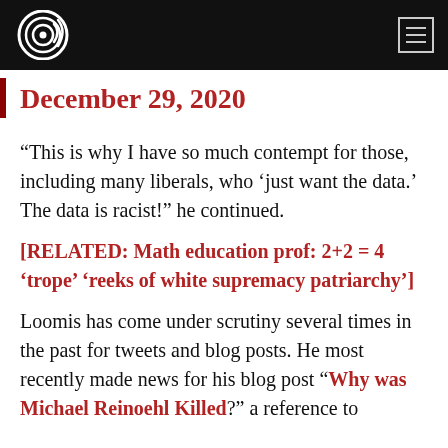Campus Reform
December 29, 2020
“This is why I have so much contempt for those, including many liberals, who ‘just want the data.’ The data is racist!” he continued.
[RELATED: Math education prof: 2+2 = 4 'trope' 'reeks of white supremacy patriarchy']
Loomis has come under scrutiny several times in the past for tweets and blog posts. He most recently made news for his blog post “Why was Michael Reinoehl Killed?” a reference to